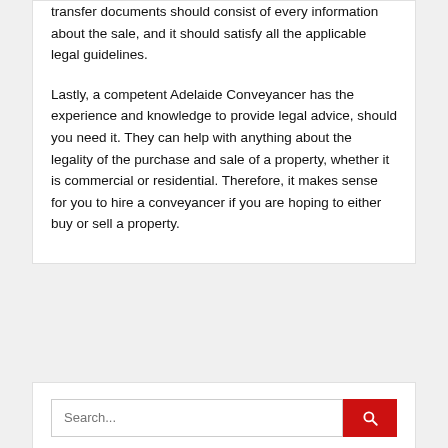transfer documents should consist of every information about the sale, and it should satisfy all the applicable legal guidelines.

Lastly, a competent Adelaide Conveyancer has the experience and knowledge to provide legal advice, should you need it. They can help with anything about the legality of the purchase and sale of a property, whether it is commercial or residential. Therefore, it makes sense for you to hire a conveyancer if you are hoping to either buy or sell a property.